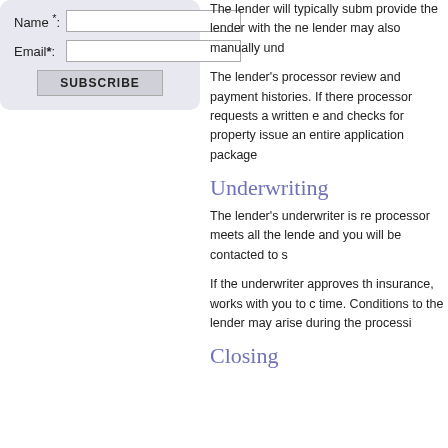[Figure (other): Subscribe form with Name and Email fields and a SUBSCRIBE button on a light blue-gray rounded background]
The lender will typically subm provide the lender with the ne lender may also manually und
The lender's processor review and payment histories. If ther processor requests a written e and checks for property issue an entire application package
Underwriting
The lender's underwriter is re processor meets all the lende and you will be contacted to s
If the underwriter approves th insurance, works with you to c time. Conditions to the lender may arise during the processi
Closing